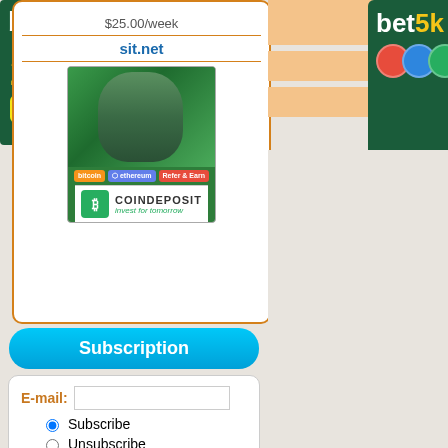[Figure (illustration): bet5k betting advertisement - dark green background with 'bet5k EARN 200% BET NOW' text in white and yellow]
[Figure (illustration): Ad panel with border showing $25.00/week price, sit.net link, CoinDeposit cryptocurrency investment banner with man's face graphic, bitcoin/ethereum buttons, and CoinDeposit logo]
Place your Text Ads Here
Subscription
E-mail:
Subscribe
Unsubscribe
[Figure (illustration): bet5k advertisement on right side - dark green background with 'bet5k' text and colorful coin stack showing red, blue, green, and yellow coins with '50' on yellow coin]